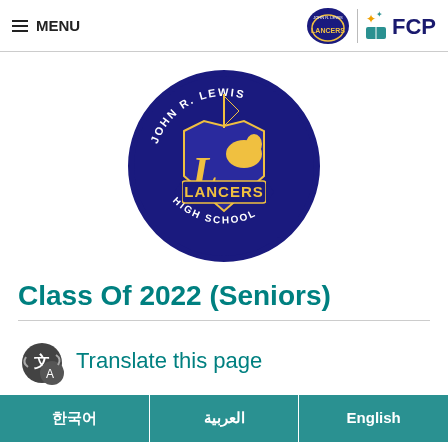≡ MENU | Lancers / FCPS logo
[Figure (logo): John R. Lewis High School Lancers circular logo with knight and horse, blue and gold colors]
Class Of 2022 (Seniors)
Translate this page
한국어
العربية
English